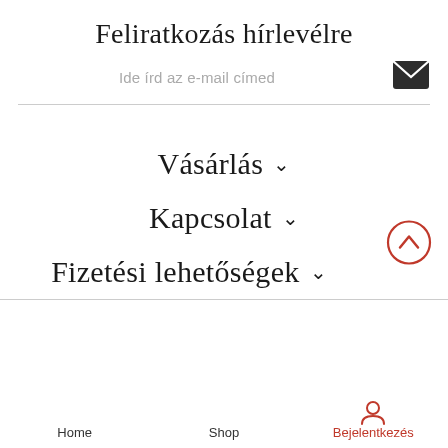Feliratkozás hírlevélre
Ide írd az e-mail címed
Vásárlás
Kapcsolat
Fizetési lehetőségek
Home   Shop   Bejelentkezés